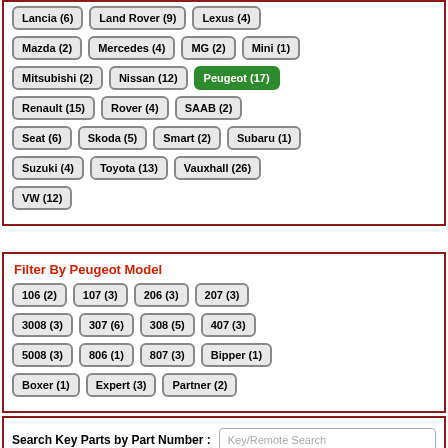Lancia (6), Land Rover (9), Lexus (4), Mazda (2), Mercedes (4), MG (2), Mini (1), Mitsubishi (2), Nissan (12), Peugeot (17), Renault (15), Rover (4), SAAB (2), Seat (6), Skoda (5), Smart (2), Subaru (1), Suzuki (4), Toyota (13), Vauxhall (26), VW (12)
Filter By Peugeot Model
106 (2), 107 (3), 206 (3), 207 (3), 3008 (3), 307 (6), 308 (5), 407 (3), 5008 (3), 806 (1), 807 (3), Bipper (1), Boxer (1), Expert (3), Partner (2)
Search Key Parts by Part Number :